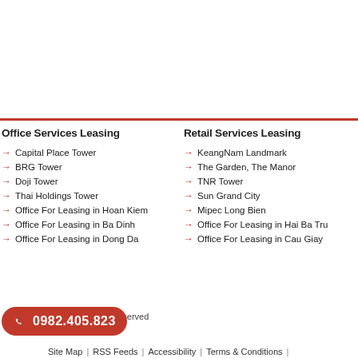Office Services Leasing
Capital Place Tower
BRG Tower
Doji Tower
Thai Holdings Tower
Office For Leasing in Hoan Kiem
Office For Leasing in Ba Dinh
Office For Leasing in Dong Da
Retail Services Leasing
KeangNam Landmark
The Garden, The Manor
TNR Tower
Sun Grand City
Mipec Long Bien
Office For Leasing in Hai Ba Tru
Office For Leasing in Cau Giay
Copyright © ... Ltd. All rights reserved  Site Map  |  RSS Feeds  |  Accessibility  |  Terms & Conditions  |